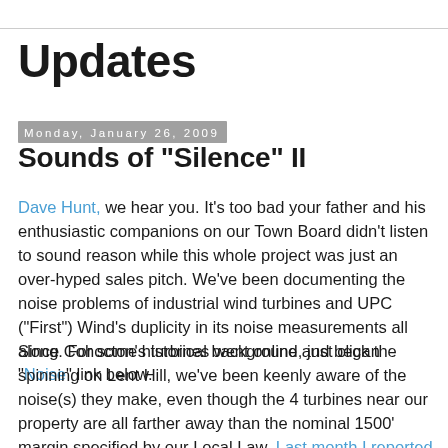Updates
Monday, January 26, 2009
Sounds of "Silence" II
Dave Hunt, we hear you. It's too bad your father and his enthusiastic companions on our Town Board didn't listen to sound reason while this whole project was just an over-hyped sales pitch. We've been documenting the noise problems of industrial wind turbines and UPC ("First") Wind's duplicity in its noise measurements all along. For some historical background, just click the "Noise" link below.
Since Cohocton's turbines went online and began spinning on Lent Hill, we've been keenly aware of the noise(s) they make, even though the 4 turbines near our property are all farther away than the nominal 1500' margin specified by our Local Law. Last month I reported about how they sound when the wind is blowing through the turbines toward our